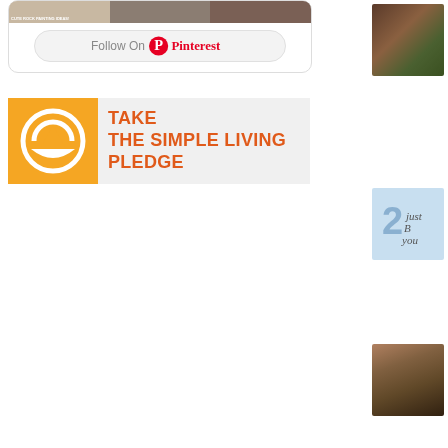[Figure (screenshot): Pinterest follow widget with three image thumbnails (craft/home decor images in brown/gray tones) and a 'Follow On Pinterest' button]
[Figure (logo): Take The Simple Living Pledge banner with orange logo on left (circular steering wheel / peace-sign style icon) and orange bold text on gray background reading TAKE THE SIMPLE LIVING PLEDGE]
[Figure (photo): Sidebar thumbnail: two women smiling, green/brown tones]
[Figure (logo): Sidebar thumbnail: 2 Just B You logo in blue and handwritten text]
[Figure (photo): Sidebar thumbnail: woman with short dark hair, brown tones]